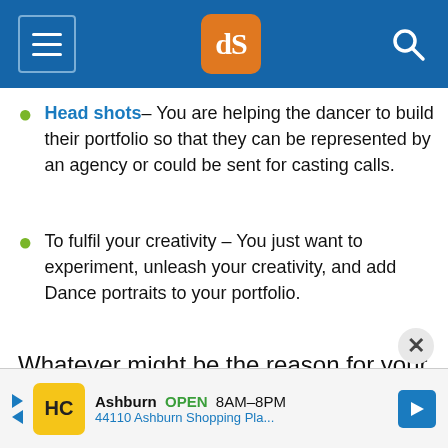dPS navigation header
Head shots – You are helping the dancer to build their portfolio so that they can be represented by an agency or could be sent for casting calls.
To fulfil your creativity – You just want to experiment, unleash your creativity, and add Dance portraits to your portfolio.
Whatever might be the reason for your dance portraits here are a few things that are common while planning and executing a dance portrait session:
Ashburn OPEN 8AM–8PM 44110 Ashburn Shopping Pla...